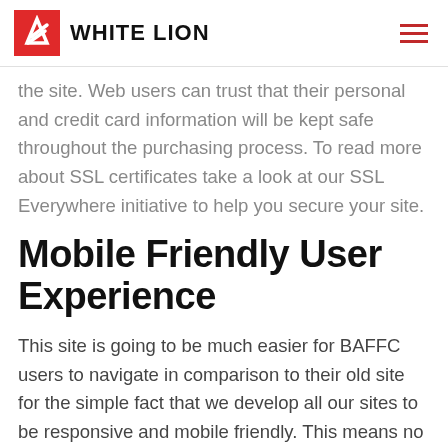WHITE LION
the site. Web users can trust that their personal and credit card information will be kept safe throughout the purchasing process. To read more about SSL certificates take a look at our SSL Everywhere initiative to help you secure your site.
Mobile Friendly User Experience
This site is going to be much easier for BAFFC users to navigate in comparison to their old site for the simple fact that we develop all our sites to be responsive and mobile friendly. This means no matter what size you view the website on, our template adjusts to fit the device you are on,